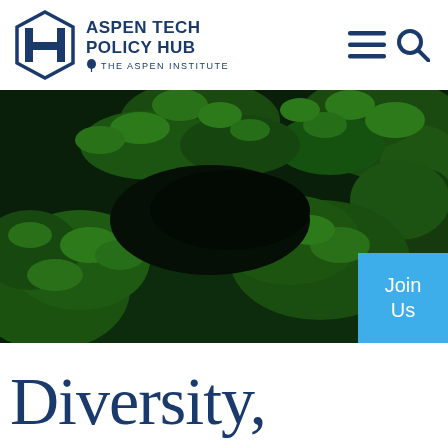[Figure (logo): Aspen Tech Policy Hub logo with hexagon icon and 'THE ASPEN INSTITUTE' subtitle]
[Figure (illustration): Navigation menu icon (hamburger) and search icon in dark blue]
[Figure (photo): Hero image: dark green conifer tree branches filling the frame]
Join Us
Diversity,